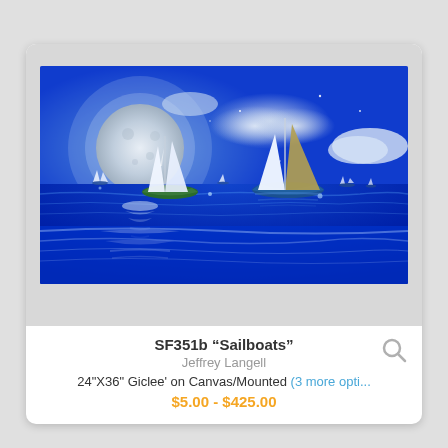[Figure (illustration): Digital painting of sailboats on blue ocean water at night with a large full moon and clouds in the background. Multiple sailboats with white sails are reflected in the blue water below.]
SF351b "Sailboats"
Jeffrey Langell
24"X36" Giclee' on Canvas/Mounted (3 more opti...
$5.00 - $425.00